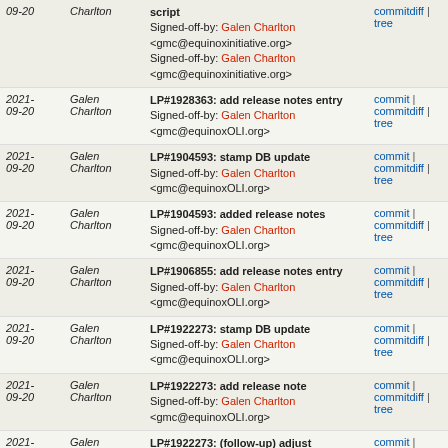| Date | Author | Message | Links |
| --- | --- | --- | --- |
| 2021-09-20 | Galen Charlton | script
Signed-off-by: Galen Charlton <gmc@equinoxinitiative.org>
Signed-off-by: Galen Charlton <gmc@equinoxinitiative.org> | commit | commitdiff | tree |
| 2021-09-20 | Galen Charlton | LP#1928363: add release notes entry
Signed-off-by: Galen Charlton <gmc@equinoxOLI.org> | commit | commitdiff | tree |
| 2021-09-20 | Galen Charlton | LP#1904593: stamp DB update
Signed-off-by: Galen Charlton <gmc@equinoxOLI.org> | commit | commitdiff | tree |
| 2021-09-20 | Galen Charlton | LP#1904593: added release notes
Signed-off-by: Galen Charlton <gmc@equinoxOLI.org> | commit | commitdiff | tree |
| 2021-09-20 | Galen Charlton | LP#1906855: add release notes entry
Signed-off-by: Galen Charlton <gmc@equinoxOLI.org> | commit | commitdiff | tree |
| 2021-09-20 | Galen Charlton | LP#1922273: stamp DB update
Signed-off-by: Galen Charlton <gmc@equinoxOLI.org> | commit | commitdiff | tree |
| 2021-09-20 | Galen Charlton | LP#1922273: add release note
Signed-off-by: Galen Charlton <gmc@equinoxOLI.org> | commit | commitdiff | tree |
| 2021-09-20 | Galen Charlton | LP#1922273: (follow-up) adjust positioning of filters
Signed-off-by: Galen Charlton <gmc@equinoxOLI.org> | commit | commitdiff | tree |
| 2021-09-20 | Galen Charlton | LP#1928359: add release notes entry | commit | commitdiff | tree |